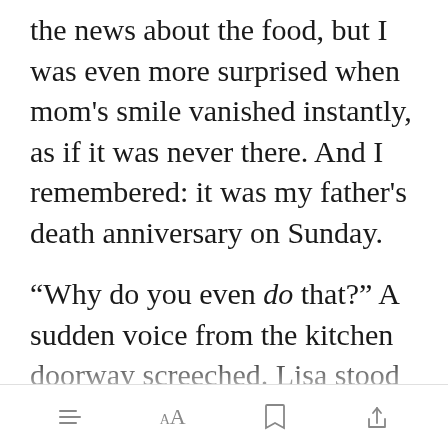the news about the food, but I was even more surprised when mom's smile vanished instantly, as if it was never there. And I remembered: it was my father's death anniversary on Sunday.

“Why do you even do that?” A sudden voice from the kitchen doorway screeched. Lisa stood there, dark rin[Open in app]d her eyes
[menu icon] [AA] [bookmark icon] [share icon]